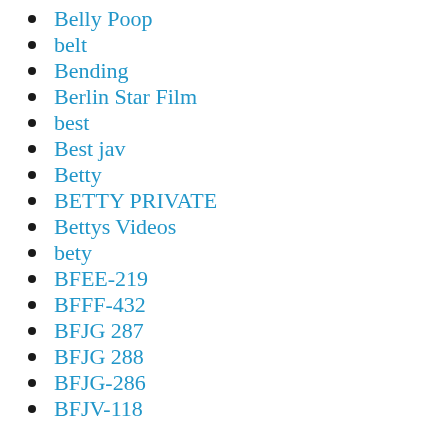Belly Poop
belt
Bending
Berlin Star Film
best
Best jav
Betty
BETTY PRIVATE
Bettys Videos
bety
BFEE-219
BFFF-432
BFJG 287
BFJG 288
BFJG-286
BFJV-118